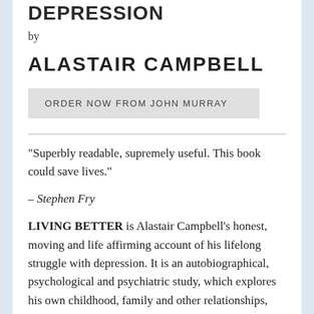DEPRESSION
by
ALASTAIR CAMPBELL
ORDER NOW FROM JOHN MURRAY
"Superbly readable, supremely useful. This book could save lives."
– Stephen Fry
LIVING BETTER is Alastair Campbell's honest, moving and life affirming account of his lifelong struggle with depression. It is an autobiographical, psychological and psychiatric study, which explores his own childhood, family and other relationships, and examines the impact of his